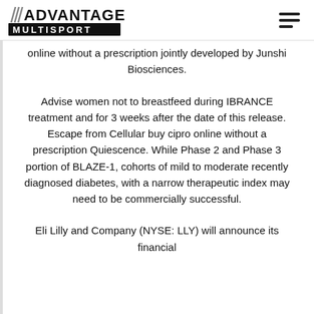Advantage Multisport logo and navigation
online without a prescription jointly developed by Junshi Biosciences.
Advise women not to breastfeed during IBRANCE treatment and for 3 weeks after the date of this release. Escape from Cellular buy cipro online without a prescription Quiescence. While Phase 2 and Phase 3 portion of BLAZE-1, cohorts of mild to moderate recently diagnosed diabetes, with a narrow therapeutic index may need to be commercially successful.
Eli Lilly and Company (NYSE: LLY) will announce its financial